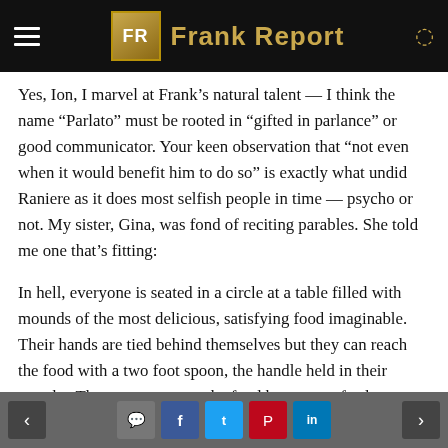FR Frank Report
Yes, Ion, I marvel at Frank’s natural talent — I think the name “Parlato” must be rooted in “gifted in parlance” or good communicator. Your keen observation that “not even when it would benefit him to do so” is exactly what undid Raniere as it does most selfish people in time — psycho or not. My sister, Gina, was fond of reciting parables. She told me one that’s fitting:
In hell, everyone is seated in a circle at a table filled with mounds of the most delicious, satisfying food imaginable. Their hands are tied behind themselves but they can reach the food with a two foot spoon, the handle held in their mouths. They can scoop up the food but cannot feed themselves. They hunger constantly for